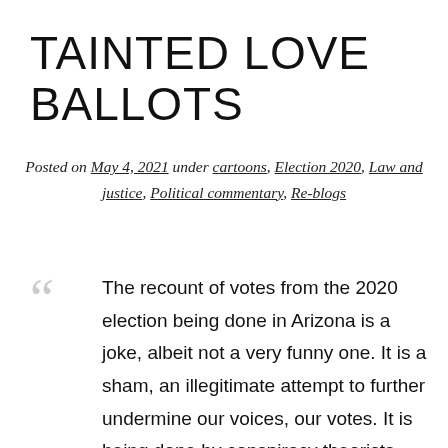TAINTED LOVE BALLOTS
Posted on May 4, 2021 under cartoons, Election 2020, Law and justice, Political commentary, Re-blogs
The recount of votes from the 2020 election being done in Arizona is a joke, albeit not a very funny one. It is a sham, an illegitimate attempt to further undermine our voices, our votes. It is being done by conspiracy theorists and at least one person who participated in the January 6th attack on our Congress in